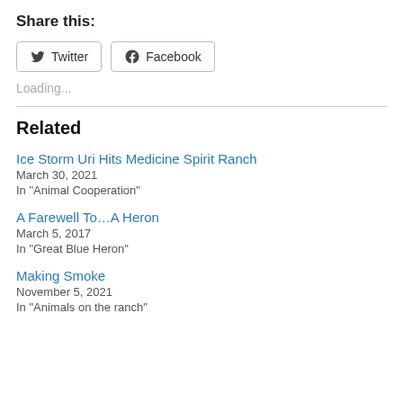Share this:
Twitter  Facebook
Loading...
Related
Ice Storm Uri Hits Medicine Spirit Ranch
March 30, 2021
In "Animal Cooperation"
A Farewell To…A Heron
March 5, 2017
In "Great Blue Heron"
Making Smoke
November 5, 2021
In "Animals on the ranch"